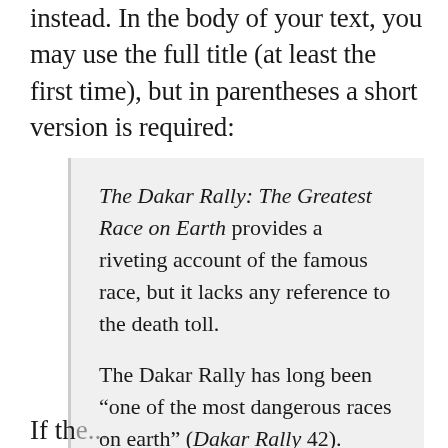instead. In the body of your text, you may use the full title (at least the first time), but in parentheses a short version is required:
The Dakar Rally: The Greatest Race on Earth provides a riveting account of the famous race, but it lacks any reference to the death toll.

The Dakar Rally has long been “one of the most dangerous races on earth” (Dakar Rally 42).
If the...